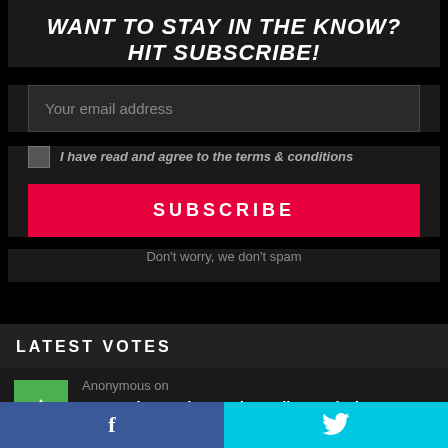WANT TO STAY IN THE KNOW? HIT SUBSCRIBE!
Your email address
I have read and agree to the terms & conditions
SUBSCRIBE
Don't worry, we don't spam
LATEST VOTES
Anonymous on
'Beyond Sound' Is A Short Film Exploring Berlin's Nightlife & DJ Culture
Anonymous on